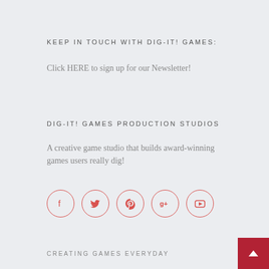KEEP IN TOUCH WITH DIG-IT! GAMES:
Click HERE to sign up for our Newsletter!
DIG-IT! GAMES PRODUCTION STUDIOS
A creative game studio that builds award-winning games users really dig!
[Figure (other): Five social media icon circles (Facebook, Twitter, Pinterest, Google+, YouTube) outlined in red]
CREATING GAMES EVERYDAY